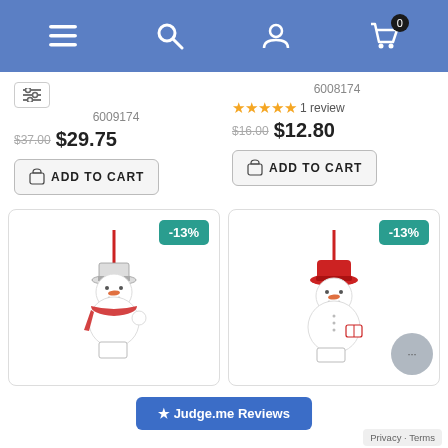Navigation bar with menu, search, account, and cart (0 items)
6009174
$37.00  $29.75
ADD TO CART
6008174
★★★★★ 1 review
$16.00  $12.80
ADD TO CART
[Figure (photo): Snowman ornament with red scarf and white hat, hanging with red ribbon, with -13% badge]
[Figure (photo): Snowman ornament with red hat, hanging with red ribbon, with -13% badge]
★ Judge.me Reviews
Privacy · Terms